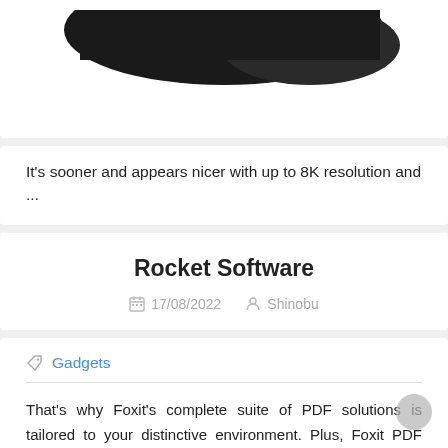[Figure (photo): Partial image of a black shoe/sneaker at the top of the page]
It's sooner and appears nicer with up to 8K resolution and ...
Rocket Software
17/08/2022   Shinobu
Gadgets
That's why Foxit's complete suite of PDF solutions is tailored to your distinctive environment. Plus, Foxit PDF Editor integrates seamlessly together with your ECMs, allowing your staff to share paperwork and collaborate wherever for optimum productivity. So we work even